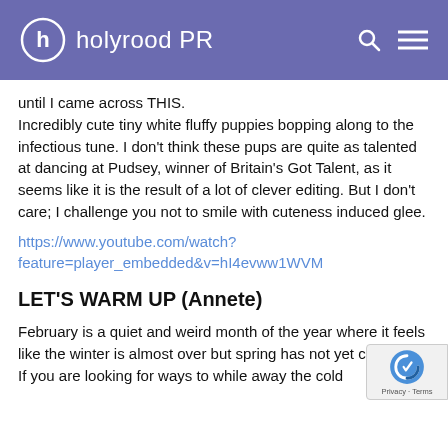holyrood PR
until I came across THIS.
Incredibly cute tiny white fluffy puppies bopping along to the infectious tune. I don't think these pups are quite as talented at dancing at Pudsey, winner of Britain's Got Talent, as it seems like it is the result of a lot of clever editing. But I don't care; I challenge you not to smile with cuteness induced glee.
https://www.youtube.com/watch?feature=player_embedded&v=hI4evww1WVM
LET'S WARM UP (Annete)
February is a quiet and weird month of the year where it feels like the winter is almost over but spring has not yet come!
If you are looking for ways to while away the cold